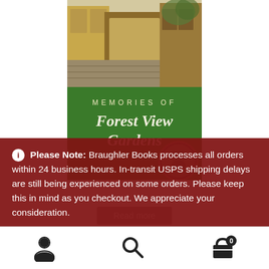[Figure (illustration): Book cover for 'Memories of Forest View Gardens' showing a European street scene with half-timbered buildings on green background with ornate title text]
Please Note: Braughler Books processes all orders within 24 business hours. In-transit USPS shipping delays are still being experienced on some orders. Please keep this in mind as you checkout. We appreciate your consideration.
Dismiss
[Figure (infographic): Bottom navigation bar with user account icon, search icon, and shopping cart icon with badge showing 0]